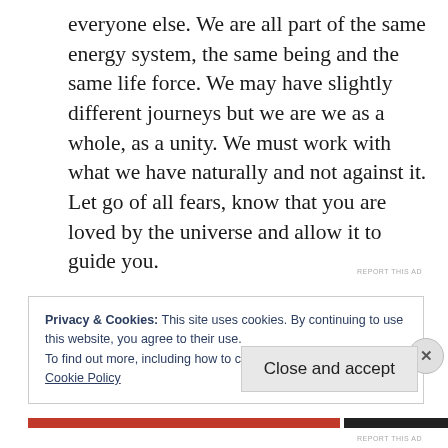everyone else. We are all part of the same energy system, the same being and the same life force. We may have slightly different journeys but we are we as a whole, as a unity. We must work with what we have naturally and not against it. Let go of all fears, know that you are loved by the universe and allow it to guide you.
Privacy & Cookies: This site uses cookies. By continuing to use this website, you agree to their use.
To find out more, including how to control cookies, see here:
Cookie Policy
Close and accept